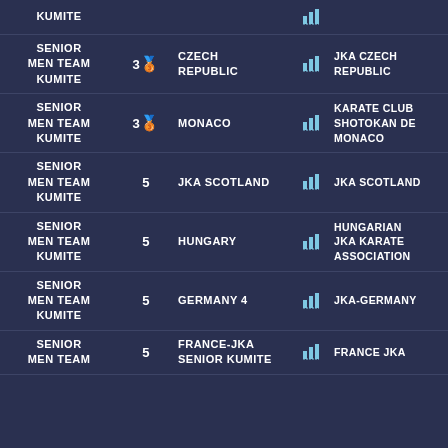| Event | Rank | Team | Icon | Club | Flag |
| --- | --- | --- | --- | --- | --- |
| SENIOR MEN TEAM KUMITE |  | KUMITE |  |  | FED... |
| SENIOR MEN TEAM KUMITE | 3🥉 | CZECH REPUBLIC | chart | JKA CZECH REPUBLIC | CZE |
| SENIOR MEN TEAM KUMITE | 3🥉 | MONACO | chart | KARATE CLUB SHOTOKAN DE MONACO | MON |
| SENIOR MEN TEAM KUMITE | 5 | JKA SCOTLAND | chart | JKA SCOTLAND | SCO |
| SENIOR MEN TEAM KUMITE | 5 | HUNGARY | chart | HUNGARIAN JKA KARATE ASSOCIATION | HUN |
| SENIOR MEN TEAM KUMITE | 5 | GERMANY 4 | chart | JKA-GERMANY | GER |
| SENIOR MEN TEAM KUMITE | 5 | FRANCE-JKA SENIOR KUMITE | chart | FRANCE JKA | FRA |